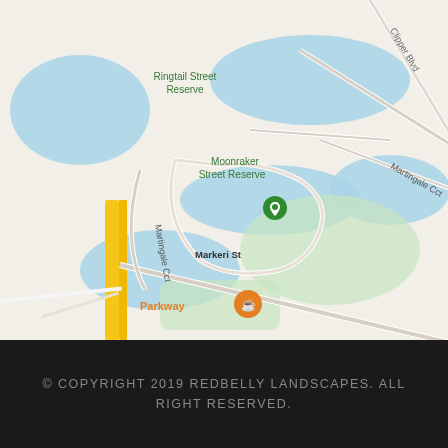[Figure (map): Google Maps screenshot showing an area with streets including Martingale Cct, Clipper Blvd, Markeri St, Caulfield St, Frankston Ct. Landmarks include Ringtail Street Reserve, Moonraker Street Reserve, Takasu Gardens, Gabriels Park, ChelseaVenz Art, Onsite Welding, Rainbow's Bed & Breakfast, and Parkway cafe. Map pins visible for green parks/reserves and business locations.]
© COPYRIGHT 2019 REDBELLY LANDSCAPES. ALL RIGHT RESERVED.